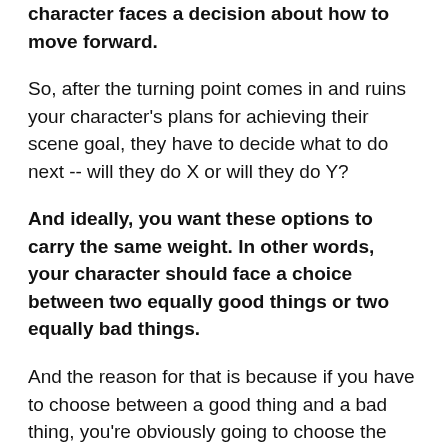character faces a decision about how to move forward.
So, after the turning point comes in and ruins your character's plans for achieving their scene goal, they have to decide what to do next -- will they do X or will they do Y?
And ideally, you want these options to carry the same weight. In other words, your character should face a choice between two equally good things or two equally bad things.
And the reason for that is because if you have to choose between a good thing and a bad thing, you're obviously going to choose the good thing, right? It's a predictable decision. If you had to choose between two equally bad or two equally